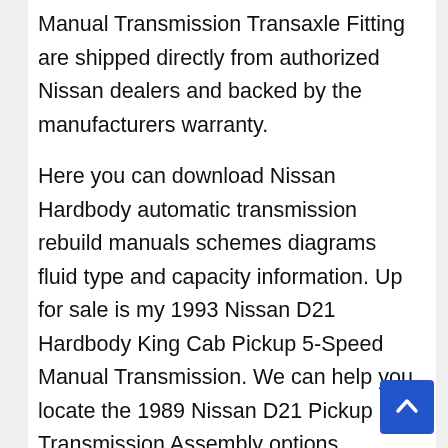Manual Transmission Transaxle Fitting are shipped directly from authorized Nissan dealers and backed by the manufacturers warranty.
Here you can download Nissan Hardbody automatic transmission rebuild manuals schemes diagrams fluid type and capacity information. Up for sale is my 1993 Nissan D21 Hardbody King Cab Pickup 5-Speed Manual Transmission. We can help you locate the 1989 Nissan D21 Pickup Transmission Assembly options.
1994 Nissan Other Pickups D21 Up for sale is a great running 4×4 1994 Nissan D21 pickup truck. Parts fit for the following vehicle options. When it comes to your Nissan D21 you want